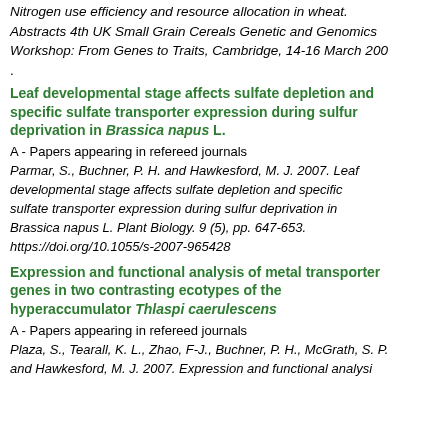Nitrogen use efficiency and resource allocation in wheat. Abstracts 4th UK Small Grain Cereals Genetic and Genomics Workshop: From Genes to Traits, Cambridge, 14-16 March 20[...]
.
Leaf developmental stage affects sulfate depletion and specific sulfate transporter expression during sulfur deprivation in Brassica napus L.
A - Papers appearing in refereed journals
Parmar, S., Buchner, P. H. and Hawkesford, M. J. 2007. Leaf developmental stage affects sulfate depletion and specific sulfate transporter expression during sulfur deprivation in Brassica napus L. Plant Biology. 9 (5), pp. 647-653. https://doi.org/10.1055/s-2007-965428
Expression and functional analysis of metal transporter genes in two contrasting ecotypes of the hyperaccumulator Thlaspi caerulescens
A - Papers appearing in refereed journals
Plaza, S., Tearall, K. L., Zhao, F-J., Buchner, P. H., McGrath, S. P. and Hawkesford, M. J. 2007. Expression and functional analysi[...]